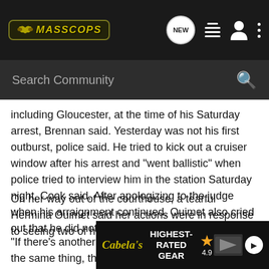MASSCOPS [navigation bar with search]
including Gloucester, at the time of his Saturday arrest, Brennan said. Yesterday was not his first outburst, police said. He tried to kick out a cruiser window after his arrest and "went ballistic" when police tried to interview him in the station Saturday night, Cook said. After apologizing to the judge when his arraignment continued, Ouimet also cried out that he did not want to go to jail.
On her way out of the courthouse, a tearful Hermina Ouimet said her actions were in response to seeing two of her four sons being hurt.
"If there's another parent who wouldn't have done the same thing, th... she said.
[Figure (screenshot): Cabela's advertisement banner: HIGHEST-RATED GEAR with star rating 4.9 and play button]